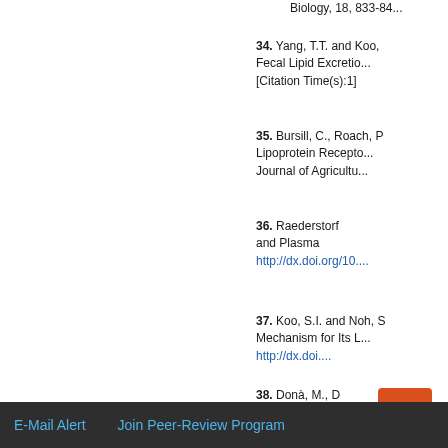Biology, 18, 833-84...
34. Yang, T.T. and Koo, ... Fecal Lipid Excretion... [Citation Time(s):1]
35. Bursill, C., Roach, P... Lipoprotein Recepto... Journal of Agricultu...
36. Raederstorf ... and Plasma ... http://dx.doi.org/10....
37. Koo, S.I. and Noh, S... Mechanism for Its L... http://dx.doi....
38. Donà, M., D... Neutrophil R... Fibrosis. Jo... [Citation Tim...
Top
ABSTRACT
Introduction
Experimental Methods
Results
Discussion
E-Mail Alert   Join Peer-Review Program